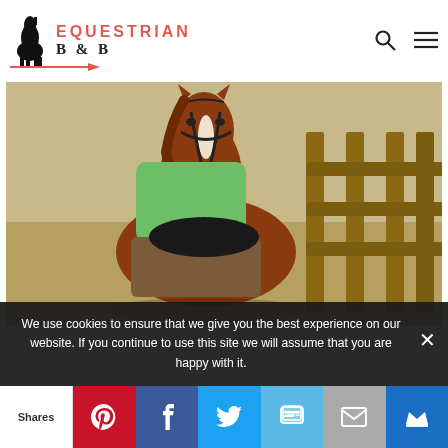EQUESTRIAN B & B
[Figure (photo): A chestnut horse with a white blaze wearing a bridle, being ridden by a person in a green shirt and brown riding pants, with a wooden fence in the background]
We use cookies to ensure that we give you the best experience on our website. If you continue to use this site we will assume that you are happy with it.
Shares